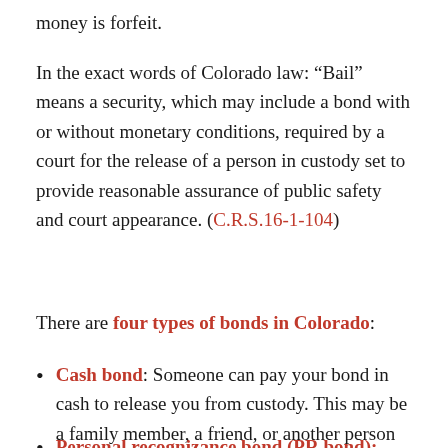money is forfeit.
In the exact words of Colorado law: “Bail” means a security, which may include a bond with or without monetary conditions, required by a court for the release of a person in custody set to provide reasonable assurance of public safety and court appearance. (C.R.S.16-1-104)
There are four types of bonds in Colorado:
Cash bond: Someone can pay your bond in cash to release you from custody. This may be a family member, a friend, or another person or company.
Personal recognizance bond (PR bond): You